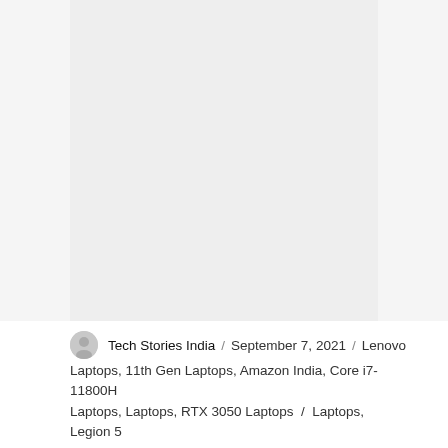[Figure (photo): Large image placeholder area with light grey background, likely a laptop product photo]
Tech Stories India / September 7, 2021 / Lenovo Laptops, 11th Gen Laptops, Amazon India, Core i7-11800H Laptops, Laptops, RTX 3050 Laptops / Laptops, Legion 5